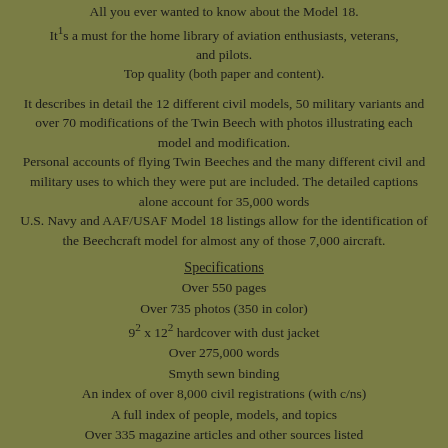All you ever wanted to know about the Model 18. It¹s a must for the home library of aviation enthusiasts, veterans, and pilots. Top quality (both paper and content).
It describes in detail the 12 different civil models, 50 military variants and over 70 modifications of the Twin Beech with photos illustrating each model and modification. Personal accounts of flying Twin Beeches and the many different civil and military uses to which they were put are included. The detailed captions alone account for 35,000 words U.S. Navy and AAF/USAF Model 18 listings allow for the identification of the Beechcraft model for almost any of those 7,000 aircraft.
Specifications
Over 550 pages
Over 735 photos (350 in color)
9² x 12² hardcover with dust jacket
Over 275,000 words
Smyth sewn binding
An index of over 8,000 civil registrations (with c/ns)
A full index of people, models, and topics
Over 335 magazine articles and other sources listed
Over 1,250 endnotes with information and sources